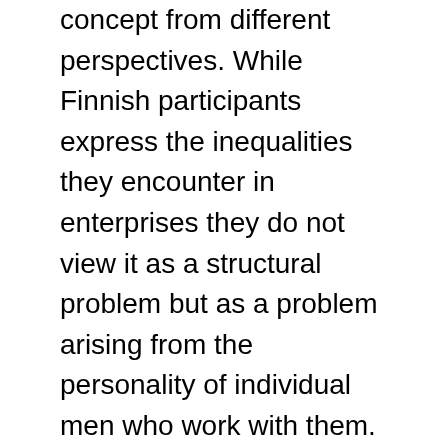concept from different perspectives. While Finnish participants express the inequalities they encounter in enterprises they do not view it as a structural problem but as a problem arising from the personality of individual men who work with them. Turkish participants, on the other hand, consider gender inequality to be structurally based. Still, they express that they do not encounter any inequality because they are women with strong characters who can overcome inequalities. They blame other female entrepreneurs for not taking the correct actions to address the inequality problem in the sector. They display statements that support the “strong,” “do-what-you-want” woman figure that postfeminism constantly keeps on the agenda.